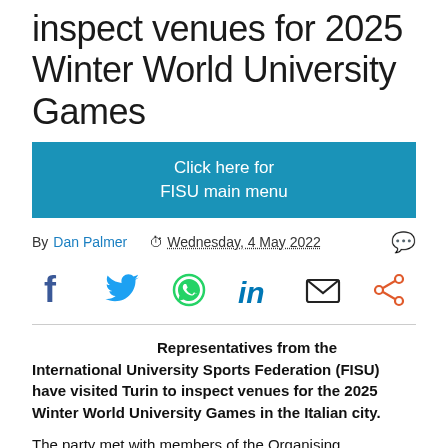inspect venues for 2025 Winter World University Games
Click here for FISU main menu
By Dan Palmer  Wednesday, 4 May 2022
[Figure (infographic): Social sharing icons: Facebook, Twitter, WhatsApp, LinkedIn, Email, Share]
Representatives from the International University Sports Federation (FISU) have visited Turin to inspect venues for the 2025 Winter World University Games in the Italian city.
The party met with members of the Organising Committee, and other key officials, and toured the PalaTazzoli venue on the first day of their trip, which will host curling and ice hockey.